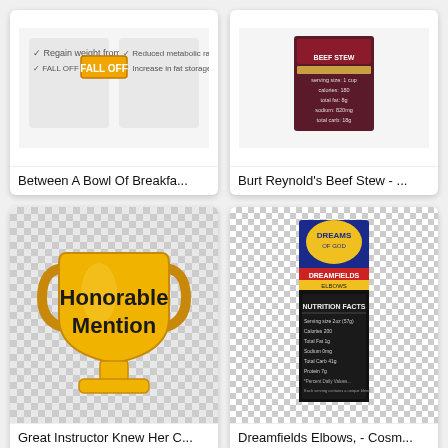[Figure (illustration): Product image for Between A Bowl Of Breakfast infographic showing fat loss concepts]
Between A Bowl Of Breakfa...
[Figure (illustration): Product image for Burt Reynold's Beef Stew showing a dark label]
Burt Reynold's Beef Stew - ...
[Figure (illustration): Gold trophy cup with text Honorable Mention on a checkered background]
Great Instructor Knew Her C...
[Figure (illustration): Dreamfields Elbows pasta box on checkered background]
Dreamfields Elbows, - Cosm...
[Figure (illustration): Cup of coffee or espresso on checkered background]
[Figure (illustration): Nulo Freestyle Adult dog food bag with Boston Terrier on checkered background]